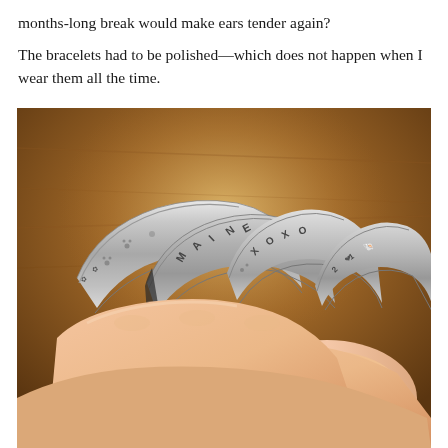months-long break would make ears tender again?
The bracelets had to be polished—which does not happen when I wear them all the time.
[Figure (photo): A hand holding four silver engraved bangle bracelets fanned out, showing text and decorative engravings including 'IMAGINE', 'XOXO', and other patterns with paw prints, flowers, and shell designs, against a warm brown wooden surface background.]